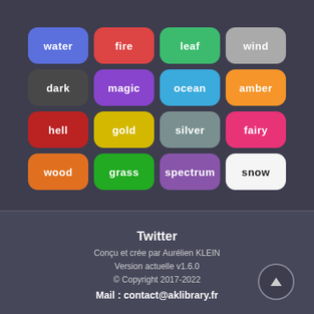[Figure (other): Grid of 16 colored theme buttons: water (blue), fire (red), leaf (green), wind (gray), dark (dark gray), magic (purple), ocean (light blue), amber (orange), hell (dark red), gold (yellow), silver (blue-gray), fairy (pink), wood (orange), grass (green), spectrum (purple), snow (white). Each button is a rounded rectangle with the theme name in bold white text (snow in dark text).]
Twitter
Conçu et crée par Aurélien KLEIN
Version actuelle v1.6.0
© Copyright 2017-2022
Mail : contact@aklibrary.fr